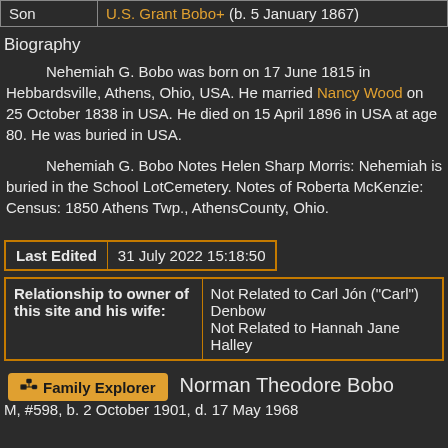| Son | U.S. Grant Bobo+ (b. 5 January 1867) |
| --- | --- |
Biography
Nehemiah G. Bobo was born on 17 June 1815 in Hebbardsville, Athens, Ohio, USA. He married Nancy Wood on 25 October 1838 in USA. He died on 15 April 1896 in USA at age 80. He was buried in USA.
Nehemiah G. Bobo Notes Helen Sharp Morris: Nehemiah is buried in the School LotCemetery. Notes of Roberta McKenzie: Census: 1850 Athens Twp., AthensCounty, Ohio.
| Last Edited | 31 July 2022 15:18:50 |
| --- | --- |
| Relationship to owner of this site and his wife: | Not Related to Carl Jón ("Carl") Denbow
Not Related to Hannah Jane Halley |
| --- | --- |
Family Explorer   Norman Theodore Bobo
M, #598, b. 2 October 1901, d. 17 May 1968